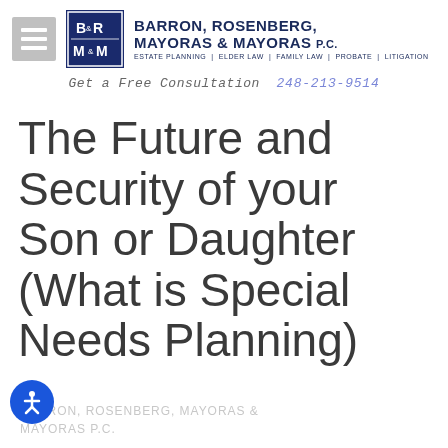[Figure (logo): Barron, Rosenberg, Mayoras & Mayoras P.C. law firm logo with B&R M&M monogram badge in navy blue and white]
Get a Free Consultation  248-213-9514
The Future and Security of your Son or Daughter (What is Special Needs Planning)
BARRON, ROSENBERG, MAYORAS & MAYORAS P.C.